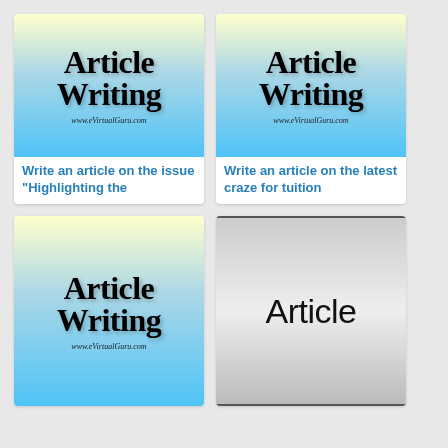[Figure (illustration): Article Writing logo with gradient background (yellow to blue) showing 'Article Writing' in bold serif font and 'www.eVirtualGuru.com' below]
Write an article on the issue “Highlighting the
[Figure (illustration): Article Writing logo with gradient background (yellow to blue) showing 'Article Writing' in bold serif font and 'www.eVirtualGuru.com' below]
Write an article on the latest craze for tuition
[Figure (illustration): Article Writing logo with gradient background (yellow to blue) showing 'Article Writing' in bold serif font and 'www.eVirtualGuru.com' below]
[Figure (illustration): Gray gradient box with 'Article' text in large sans-serif font, bordered top and bottom]